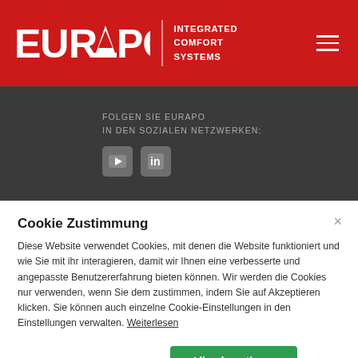EURAPO INTEGRATED COMFORT SYSTEMS
FOLGEN SIE EURAPO IN DEN SOZIALEN NETZWERKEN:
Cookie Zustimmung
Diese Website verwendet Cookies, mit denen die Website funktioniert und wie Sie mit ihr interagieren, damit wir Ihnen eine verbesserte und angepasste Benutzererfahrung bieten können. Wir werden die Cookies nur verwenden, wenn Sie dem zustimmen, indem Sie auf Akzeptieren klicken. Sie können auch einzelne Cookie-Einstellungen in den Einstellungen verwalten. Weiterlesen
Einstellungen ∨
Alle akzeptieren